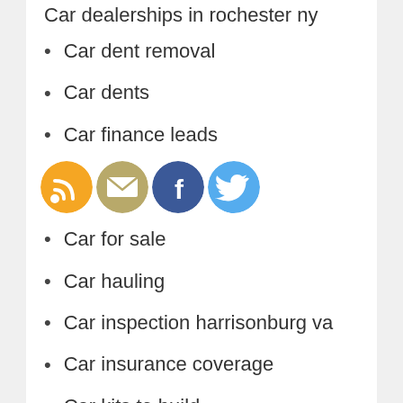Car dealerships in rochester ny
Car dent removal
Car dents
Car finance leads
[Figure (infographic): Four social media icons: RSS (orange), Email (tan/gold), Facebook (dark blue), Twitter (light blue)]
Car for sale
Car hauling
Car inspection harrisonburg va
Car insurance coverage
Car kits to build
Car lease deals
Car lease deals denver